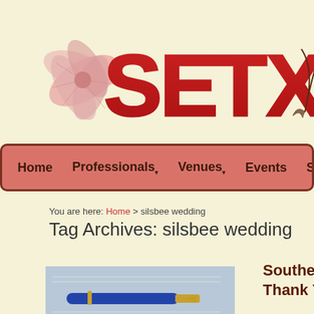[Figure (logo): SETX website logo with large red letters S, E, T, X and a pink hibiscus flower graphic on the left and a dark decorative feather/quill on the right]
Home  Professionals  Venues  Events  Shopping
You are here: Home > silsbee wedding
Tag Archives: silsbee wedding
[Figure (photo): Photo of a blue fountain pen resting on paper]
Southeast Texas Wedding Planner – Thank You Dad